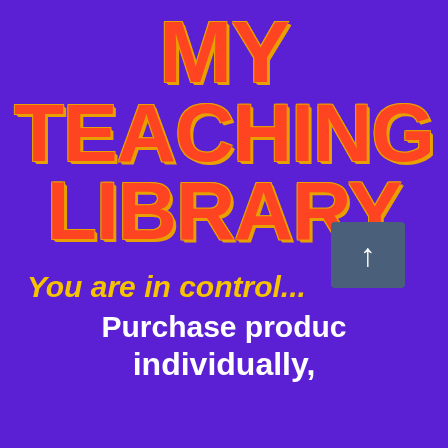MY TEACHING LIBRARY
You are in control...
Purchase products individually,